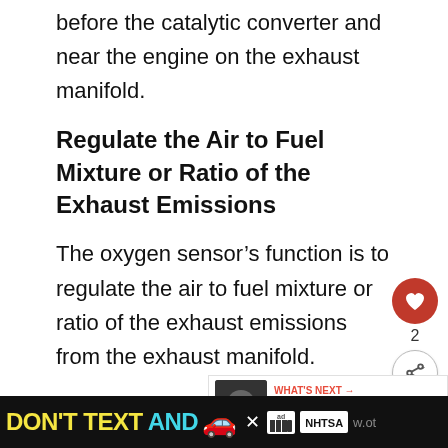before the catalytic converter and near the engine on the exhaust manifold.
Regulate the Air to Fuel Mixture or Ratio of the Exhaust Emissions
The oxygen sensor’s function is to regulate the air to fuel mixture or ratio of the exhaust emissions from the exhaust manifold.
Measures Exhaust Fumes’ Pollutant Level
In other words, the car component m... the pollutant level of the exhaust fumes to
[Figure (infographic): Ad banner at bottom: DON'T TEXT AND [car emoji] with NHTSA branding on black background]